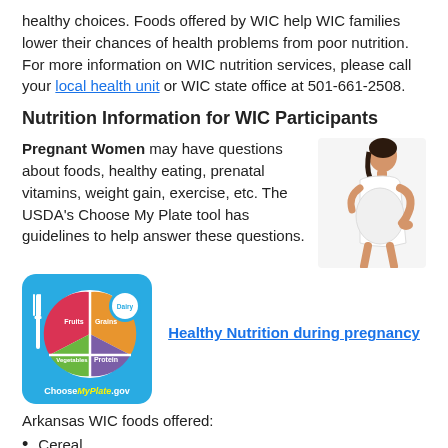healthy choices. Foods offered by WIC help WIC families lower their chances of health problems from poor nutrition. For more information on WIC nutrition services, please call your local health unit or WIC state office at 501-661-2508.
Nutrition Information for WIC Participants
Pregnant Women may have questions about foods, healthy eating, prenatal vitamins, weight gain, exercise, etc. The USDA's Choose My Plate tool has guidelines to help answer these questions.
[Figure (illustration): Pregnant woman in white dress holding her back, side view.]
[Figure (illustration): ChooseMyPlate.gov logo showing a plate divided into four colored sections: Fruits, Grains, Vegetables, Protein, with a Dairy circle on the side and a fork on the left.]
Healthy Nutrition during pregnancy
Arkansas WIC foods offered:
Cereal
Whole grains
Eggs